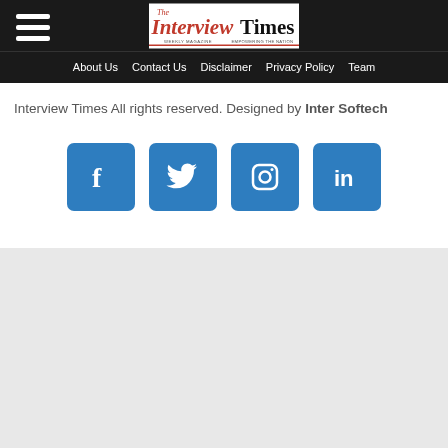Interview Times — About Us | Contact Us | Disclaimer | Privacy Policy | Team
Interview Times All rights reserved. Designed by Inter Softech
[Figure (other): Four social media icon buttons: Facebook, Twitter, Instagram, LinkedIn — all in blue rounded squares]